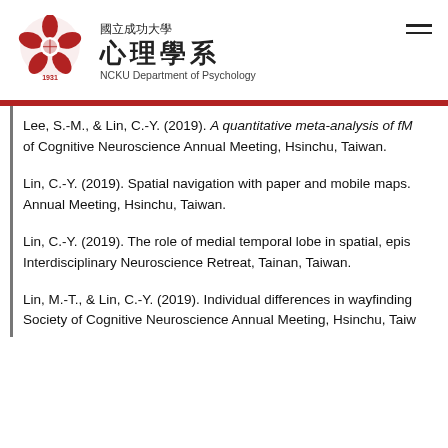國立成功大學 心理學系 NCKU Department of Psychology
Lee, S.-M., & Lin, C.-Y. (2019). A quantitative meta-analysis of fM... of Cognitive Neuroscience Annual Meeting, Hsinchu, Taiwan.
Lin, C.-Y. (2019). Spatial navigation with paper and mobile maps. Annual Meeting, Hsinchu, Taiwan.
Lin, C.-Y. (2019). The role of medial temporal lobe in spatial, epis... Interdisciplinary Neuroscience Retreat, Tainan, Taiwan.
Lin, M.-T., & Lin, C.-Y. (2019). Individual differences in wayfinding... Society of Cognitive Neuroscience Annual Meeting, Hsinchu, Taiw...